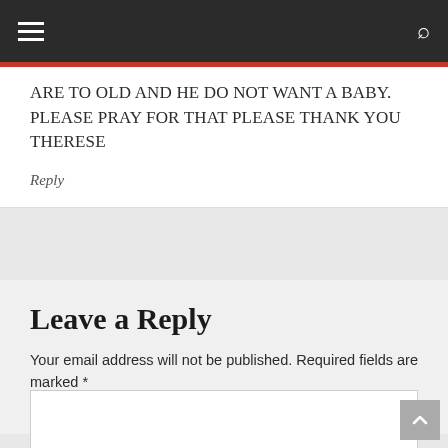Navigation bar with hamburger menu and search icon
ARE TO OLD AND HE DO NOT WANT A BABY. PLEASE PRAY FOR THAT PLEASE THANK YOU THERESE
Reply
Leave a Reply
Your email address will not be published. Required fields are marked *
Comment *